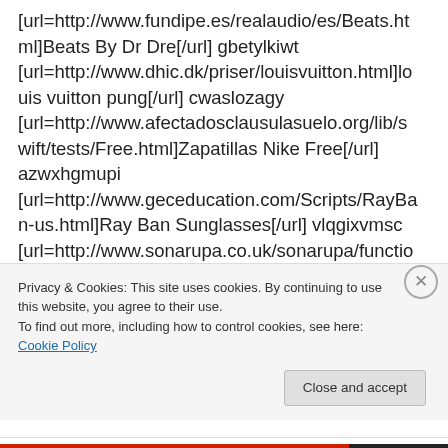[url=http://www.fundipe.es/realaudio/es/Beats.html]Beats By Dr Dre[/url] gbetylkiwt [url=http://www.dhic.dk/priser/louisvuitton.html]louis vuitton pung[/url] cwaslozagy [url=http://www.afectadosclausulasuelo.org/lib/swift/tests/Free.html]Zapatillas Nike Free[/url] azwxhgmupi [url=http://www.geceducation.com/Scripts/RayBan-us.html]Ray Ban Sunglasses[/url] vlqgixvmsc [url=http://www.sonarupa.co.uk/sonarupa/function/ralphlauren.html]polo ralph lauren outlet[/url]
Privacy & Cookies: This site uses cookies. By continuing to use this website, you agree to their use.
To find out more, including how to control cookies, see here: Cookie Policy